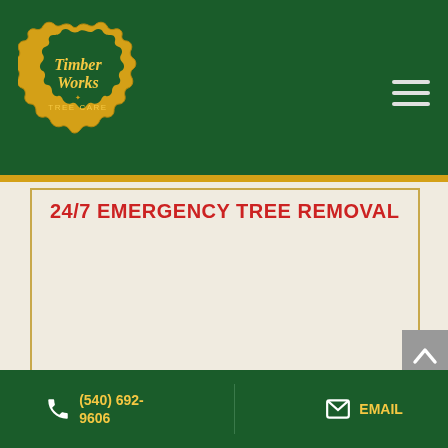Timber Works Tree Care - Logo and navigation header
24/7 EMERGENCY TREE REMOVAL
Timber Works Tree Care offers 24/7 Emergency Tree Care & Removal services in Manassas Park, VA & No. VA.
(540) 692-9606  EMAIL